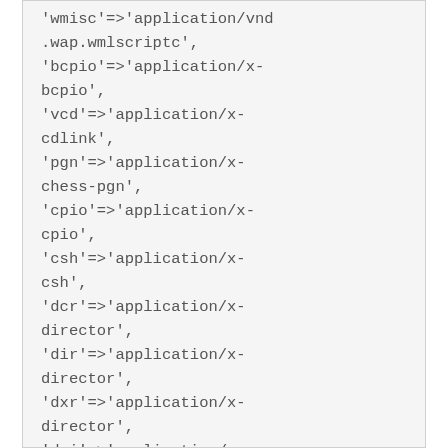'wmisc'=>'application/vnd.wap.wmlscriptc',
'bcpio'=>'application/x-bcpio',
'vcd'=>'application/x-cdlink',
'pgn'=>'application/x-chess-pgn',
'cpio'=>'application/x-cpio',
'csh'=>'application/x-csh',
'dcr'=>'application/x-director',
'dir'=>'application/x-director',
'dxr'=>'application/x-director',
'dvi'=>'application/x-dvi',